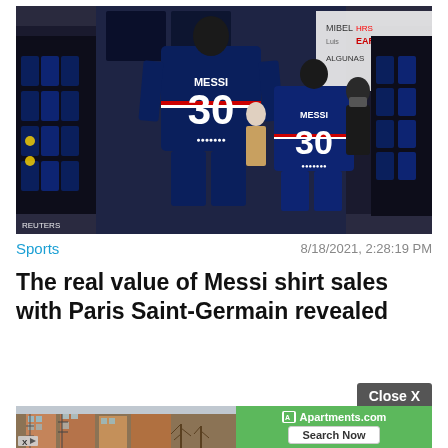[Figure (photo): Two mannequins wearing PSG Messi #30 jerseys displayed in a sports store, with racks of dark jerseys visible on either side and a store attendant in the background.]
Sports
8/18/2021, 2:28:19 PM
The real value of Messi shirt sales with Paris Saint-Germain revealed
Close X
[Figure (screenshot): Apartments.com advertisement banner showing a photo of city apartment buildings on the left and a green Apartments.com branded section with 'Search Now' button on the right.]